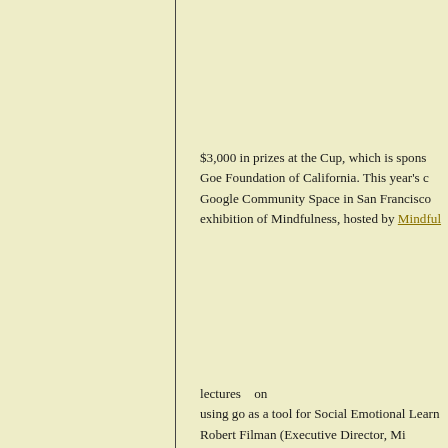$3,000 in prizes at the Cup, which is spons Goe Foundation of California. This year's c Google Community Space in San Francisco exhibition of Mindfulness, hosted by Mindful
lectures   on using go as a tool for Social Emotional Learn Robert Filman (Executive Director, Mi